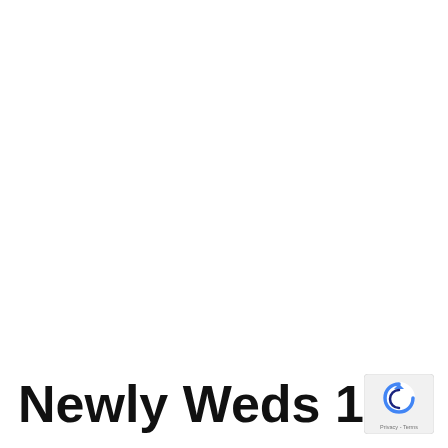Newly Weds 1kg
[Figure (logo): reCAPTCHA logo badge with blue arrow icon and 'Privacy - Terms' text]